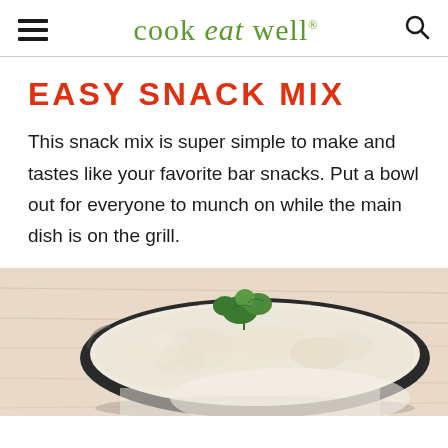cook eat well
EASY SNACK MIX
This snack mix is super simple to make and tastes like your favorite bar snacks. Put a bowl out for everyone to munch on while the main dish is on the grill.
[Figure (photo): Close-up photo of a dark bowl filled with a creamy white snack mix dip, garnished with fresh green parsley, on a light wooden surface.]